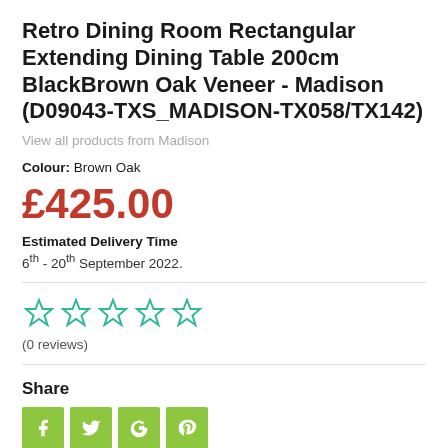Retro Dining Room Rectangular Extending Dining Table 200cm BlackBrown Oak Veneer - Madison (D09043-TXS_MADISON-TX058/TX142)
View all products from Madison
Colour: Brown Oak
£425.00
Estimated Delivery Time
6th - 20th September 2022.
[Figure (other): 5 empty star rating icons in teal/green outline]
(0 reviews)
Share
[Figure (other): Social share buttons: Facebook, Twitter, Google+, Pinterest — all with green background]